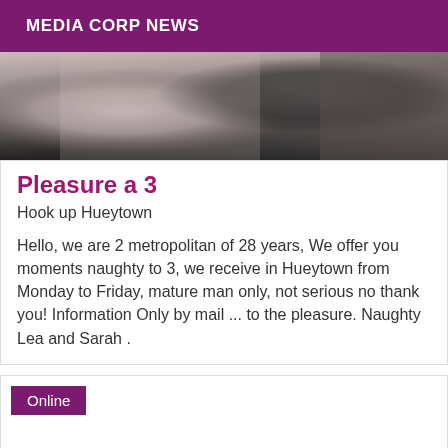MEDIA CORP NEWS
[Figure (photo): Black and white close-up photo showing parts of a person's body]
Pleasure a 3
Hook up Hueytown
Hello, we are 2 metropolitan of 28 years, We offer you moments naughty to 3, we receive in Hueytown from Monday to Friday, mature man only, not serious no thank you! Information Only by mail ... to the pleasure. Naughty Lea and Sarah .
Online